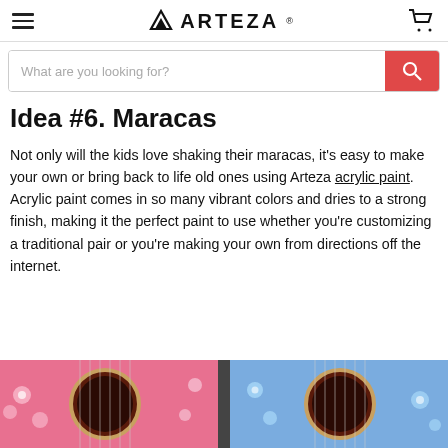ARTEZA
What are you looking for?
Idea #6. Maracas
Not only will the kids love shaking their maracas, it's easy to make your own or bring back to life old ones using Arteza acrylic paint. Acrylic paint comes in so many vibrant colors and dries to a strong finish, making it the perfect paint to use whether you're customizing a traditional pair or you're making your own from directions off the internet.
[Figure (photo): Two decorated acoustic guitars side by side, one pink with white floral designs and one blue with blue floral designs, showing the sound holes and strings.]